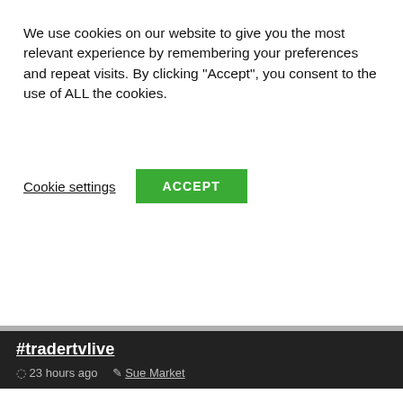We use cookies on our website to give you the most relevant experience by remembering your preferences and repeat visits. By clicking "Accept", you consent to the use of ALL the cookies.
Cookie settings
ACCEPT
#tradertvlive
23 hours ago   Sue Market
[Figure (photo): A man in a white shirt, photo taken from a TV broadcast or video, with dark blurred backgrounds on the left and right sides.]